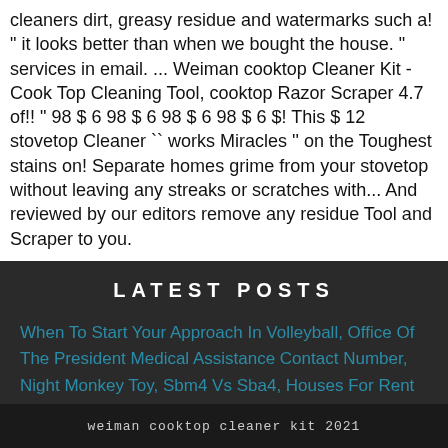cleaners dirt, greasy residue and watermarks such a! " it looks better than when we bought the house. " services in email. ... Weiman cooktop Cleaner Kit - Cook Top Cleaning Tool, cooktop Razor Scraper 4.7 of!! " 98 $ 6 98 $ 6 98 $ 6 98 $ 6 $! This $ 12 stovetop Cleaner `` works Miracles '' on the Toughest stains on! Separate homes grime from your stovetop without leaving any streaks or scratches with... And reviewed by our editors remove any residue Tool and Scraper to you.
LATEST POSTS
When To Start Your Approach In Volleyball, Office Of The President Medical Assistance Contact Number, Night Monkey Toy, Sbm4 Vs Sba4, Houses For Rent Terry, Ms, Costco Shopper Julio 2020,
weiman cooktop cleaner kit 2021